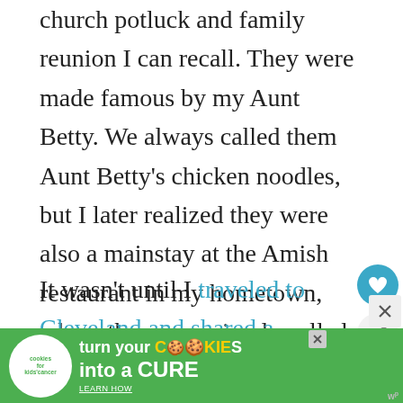church potluck and family reunion I can recall. They were made famous by my Aunt Betty. We always called them Aunt Betty's chicken noodles, but I later realized they were also a mainstay at the Amish restaurant in my hometown, where they were simply called Homemade Noodles.
It wasn't until I traveled to Cleveland and shared a traditional Amish meal with my fellow food bloggers that I realized just how special th...
[Figure (other): Advertisement banner: cookies for kids cancer - turn your cookies into a CURE LEARN HOW, with green background and yellow cookie graphic]